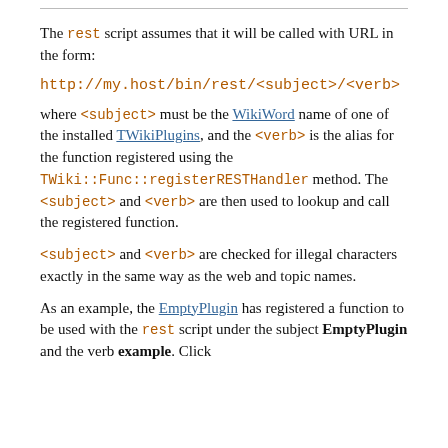The rest script assumes that it will be called with URL in the form:
http://my.host/bin/rest/<subject>/<verb>
where <subject> must be the WikiWord name of one of the installed TWikiPlugins, and the <verb> is the alias for the function registered using the TWiki::Func::registerRESTHandler method. The <subject> and <verb> are then used to lookup and call the registered function.
<subject> and <verb> are checked for illegal characters exactly in the same way as the web and topic names.
As an example, the EmptyPlugin has registered a function to be used with the rest script under the subject EmptyPlugin and the verb example. Click